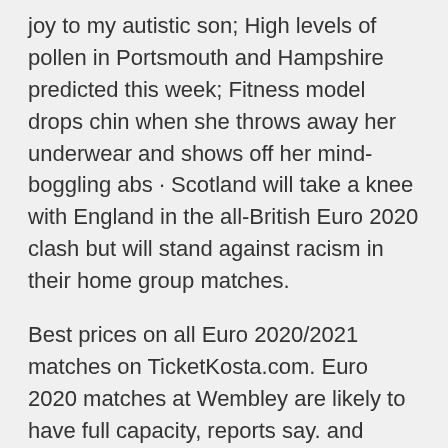joy to my autistic son; High levels of pollen in Portsmouth and Hampshire predicted this week; Fitness model drops chin when she throws away her underwear and shows off her mind-boggling abs · Scotland will take a knee with England in the all-British Euro 2020 clash but will stand against racism in their home group matches.
Best prices on all Euro 2020/2021 matches on TicketKosta.com. Euro 2020 matches at Wembley are likely to have full capacity, reports say. and Chelsea who fans were present at the national stadium for the FA Cup final. England play group games against Croatia, Scotland and Cze We compare all Euro 2020 Croatia v Czech Republic tickets in Glasgow, United Kingdom at Hampden Park National Stadium to bring you the best deal.